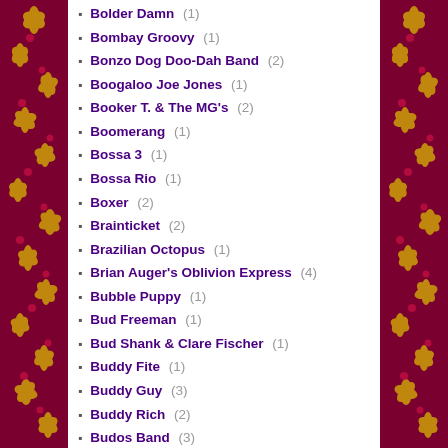Bolder Damn (1)
Bombay Groovy (1)
Bonzo Dog Doo-Dah Band (2)
Boogaloo Joe Jones (1)
Booker T. & The MG's (2)
Boomerang (1)
Bossa 3 (1)
Bossa Rio (1)
Boxer (2)
Brainticket (2)
Brazilian Octopus (1)
Brian Auger's Oblivion Express (4)
Bubble Puppy (1)
Bud Freeman (1)
Bud Shank & Clare Fischer (1)
Buddy Fite (1)
Buddy Guy (3)
Buddy Rich (2)
Budos Band (3)
Buffalo (1)
Buffalo Springfield (3)